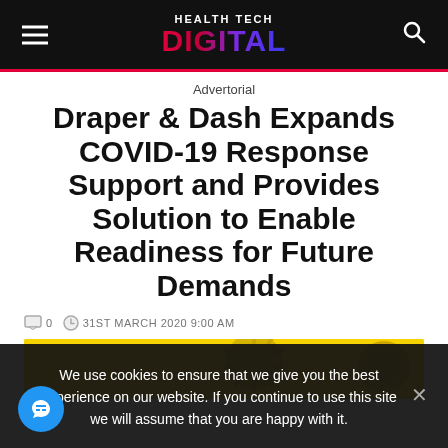HEALTH TECH DIGITAL
Advertorial
Draper & Dash Expands COVID-19 Response Support and Provides Solution to Enable Readiness for Future Demands
0   31ST MARCH 2020 9:00 AM
[Figure (photo): Yellow background with coronavirus particle imagery]
We use cookies to ensure that we give you the best experience on our website. If you continue to use this site we will assume that you are happy with it.